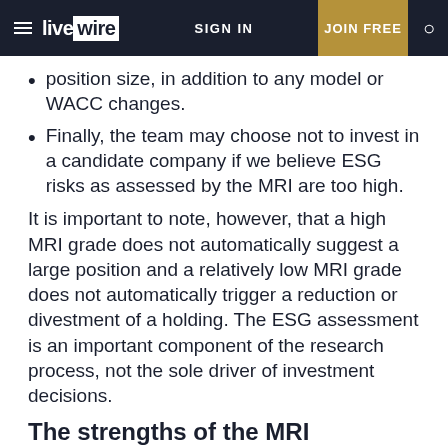livewire | SIGN IN | JOIN FREE
position size, in addition to any model or WACC changes.
Finally, the team may choose not to invest in a candidate company if we believe ESG risks as assessed by the MRI are too high.
It is important to note, however, that a high MRI grade does not automatically suggest a large position and a relatively low MRI grade does not automatically trigger a reduction or divestment of a holding. The ESG assessment is an important component of the research process, not the sole driver of investment decisions.
The strengths of the MRI approach
It is entirely portfolio manager designed and driven